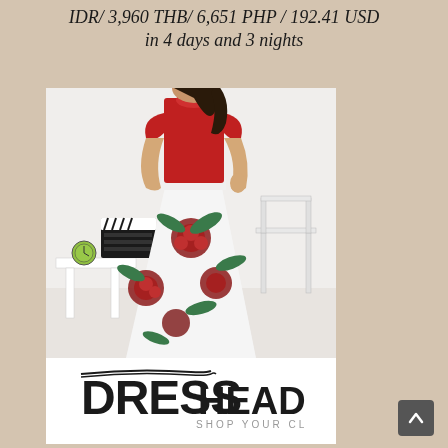IDR/ 3,960 THB/ 6,651 PHP / 192.41 USD in 4 days and 3 nights
[Figure (photo): Woman wearing a red top and white floral maxi skirt with red flowers and green leaves, standing in a room. Below the photo is the DressHead.com logo with tagline 'SHOP YOUR CLOSET'.]